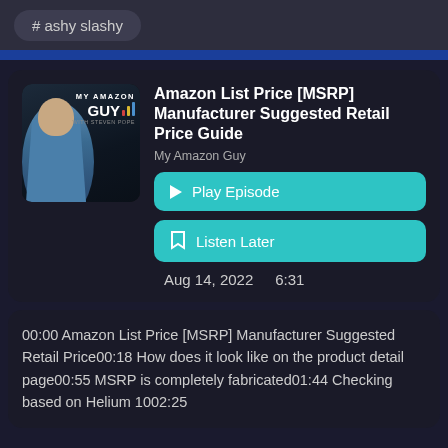# ashy slashy
Amazon List Price [MSRP] Manufacturer Suggested Retail Price Guide
My Amazon Guy
▶ Play Episode
🔖 Listen Later
Aug 14, 2022   6:31
00:00 Amazon List Price [MSRP] Manufacturer Suggested Retail Price00:18 How does it look like on the product detail page00:55 MSRP is completely fabricated01:44 Checking based on Helium 1002:25